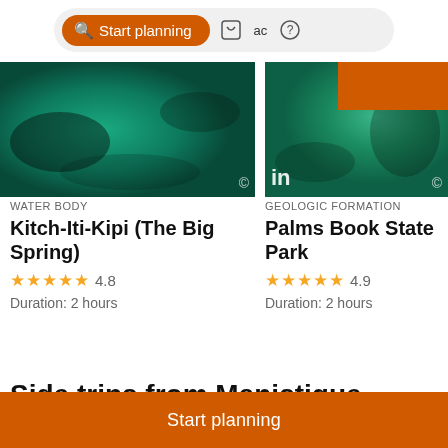[Figure (screenshot): Navigation bar with orange 'Start planning' button and icons for saved places and activities]
[Figure (photo): Teal/green underwater photo of Kitch-Iti-Kipi spring]
[Figure (photo): Teal/green photo of Palms Book State Park, partially cut off]
WATER BODY
Kitch-Iti-Kipi (The Big Spring)
★★★★★ 4.8
Duration: 2 hours
GEOLOGIC FORMATION
Palms Book State Park
★★★★★ 4.9
Duration: 2 hours
Side trips from Manistique
[Figure (screenshot): Bottom thumbnails strip showing partial location names]
Start planning